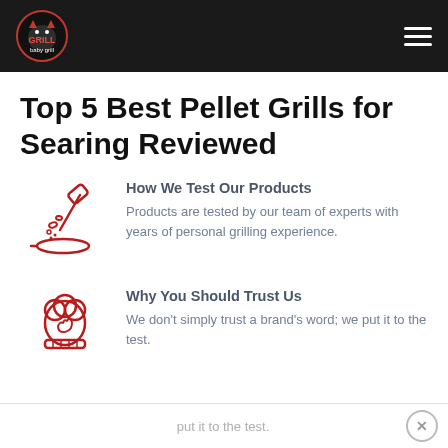Grill Baby Grill (logo) — navigation bar with hamburger menu
Top 5 Best Pellet Grills for Searing Reviewed
[Figure (illustration): Red line art icon of a spatula with food items (vegetables) being tossed over a grill pan]
How We Test Our Products
Products are tested by our team of experts with years of personal grilling experience.
[Figure (illustration): Red line art icon of a chef's hat / toque with a fist bump or hand gesture inside]
Why You Should Trust Us
We don't simply trust a brand's word; we put it to the test.
We don't simply trust a brand's word; we put it to the test.  [×]